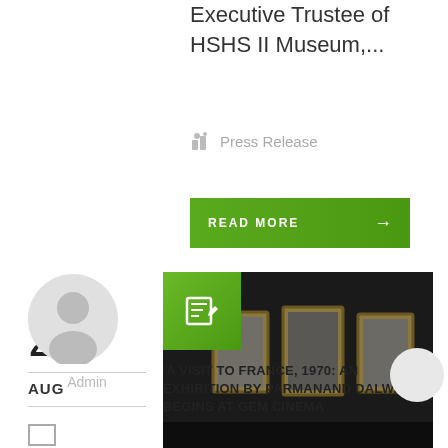Executive Trustee of HSHS II Museum,...
Press Release
READ MORE →
23
AUG
[Figure (illustration): User avatar placeholder circle icon in grey]
Admin
[Figure (photo): Dark photograph showing framed black and white artworks hanging on a gallery wall, with a green edit icon overlay in the top-left corner]
'A VISIT TO FRANCE, 1970: AN EXHIBITION BY PARMANAND DALWADI' BEGINS AT GEM CINEMA